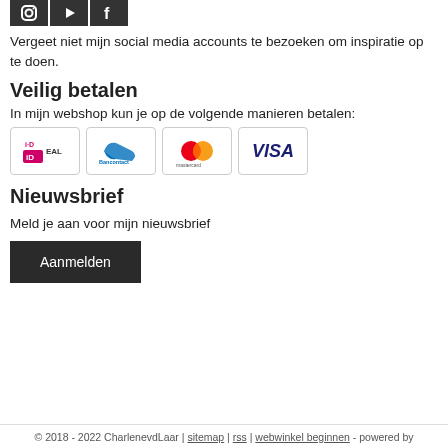[Figure (illustration): Three social media icon boxes (Instagram, YouTube, Facebook) in dark grey/black squares]
Vergeet niet mijn social media accounts te bezoeken om inspiratie op te doen.
Veilig betalen
In mijn webshop kun je op de volgende manieren betalen:
[Figure (illustration): Four payment method icons: iDEAL, Bancontact, Mastercard, VISA in bordered boxes]
Nieuwsbrief
Meld je aan voor mijn nieuwsbrief
Aanmelden
© 2018 - 2022 CharlenevdLaar | sitemap | rss | webwinkel beginnen - powered by